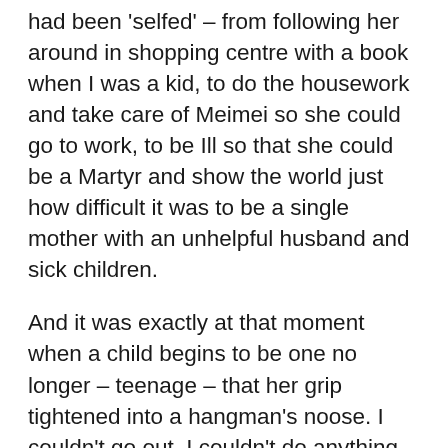had been 'selfed' – from following her around in shopping centre with a book when I was a kid, to do the housework and take care of Meimei so she could go to work, to be Ill so that she could be a Martyr and show the world just how difficult it was to be a single mother with an unhelpful husband and sick children.
And it was exactly at that moment when a child begins to be one no longer – teenage – that her grip tightened into a hangman's noose. I couldn't go out. I couldn't do anything. The abuse she hurled at the things I loved! All anime (no matter what kind – shoujo, mecha, fantasy, action) was automatically “kiddie porn.” She was so derisive of the largeness of the character's eyes that I wondered what they had ever done to her. Video games were a waste of time and she couldn't wait until I stopped playing them and went back to reading “proper” books.